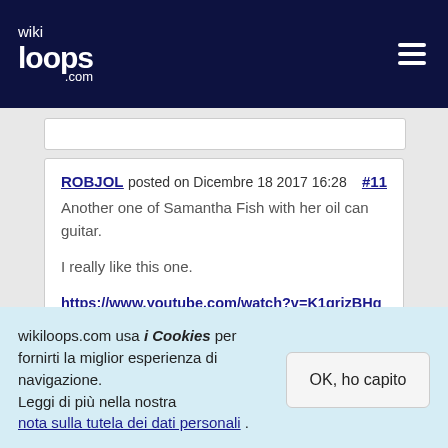wikiloops.com
ROBJOL posted on Dicembre 18 2017 16:28 #11

Another one of Samantha Fish with her oil can guitar.

I really like this one.

https://www.youtube.com/watch?v=K1grjzBHgmY
wikiloops.com usa i Cookies per fornirti la miglior esperienza di navigazione.
Leggi di più nella nostra nota sulla tutela dei dati personali .